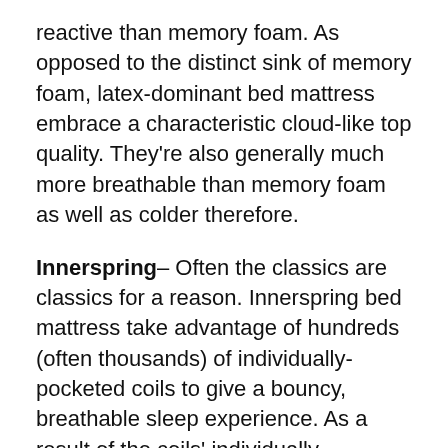reactive than memory foam. As opposed to the distinct sink of memory foam, latex-dominant bed mattress embrace a characteristic cloud-like top quality. They're also generally much more breathable than memory foam as well as colder therefore.
Innerspring– Often the classics are classics for a reason. Innerspring bed mattress take advantage of hundreds (often thousands) of individually-pocketed coils to give a bouncy, breathable sleep experience. As a result of the coils' individually-pocketed nature, they do not influence each other, producing exceptional side support and natural activity seclusion.
Crossbrood– Hybrid bed mattress combine